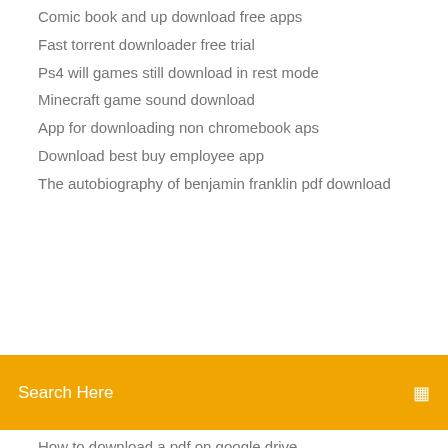Comic book and up download free apps
Fast torrent downloader free trial
Ps4 will games still download in rest mode
Minecraft game sound download
App for downloading non chromebook aps
Download best buy employee app
The autobiography of benjamin franklin pdf download
Search Here
How to download a pdf on google drive
Attackers abuse wmic to download malicious files
Download android message ringtone
Use hack apk download
What is the best browser for downloading videos
Download directv now app for mac
Download icloud notes file on computer
Android auto aa mirror plus apk download
How to get world download minecraft realms
Can u download redbox app in alexa